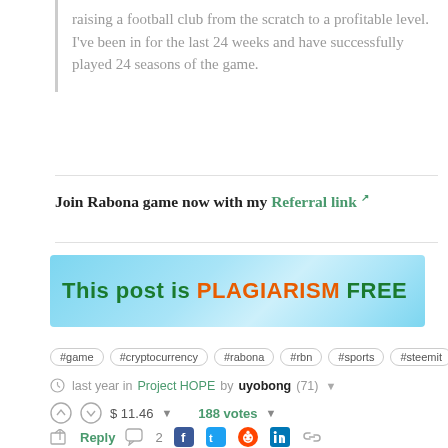raising a football club from the scratch to a profitable level. I've been in for the last 24 weeks and have successfully played 24 seasons of the game.
Join Rabona game now with my Referral link
[Figure (infographic): Blue gradient banner reading: This post is PLAGIARISM FREE]
#game
#cryptocurrency
#rabona
#rbn
#sports
#steemit
last year in Project HOPE by uyobong (71)
$ 11.46   188 votes
Reply  2